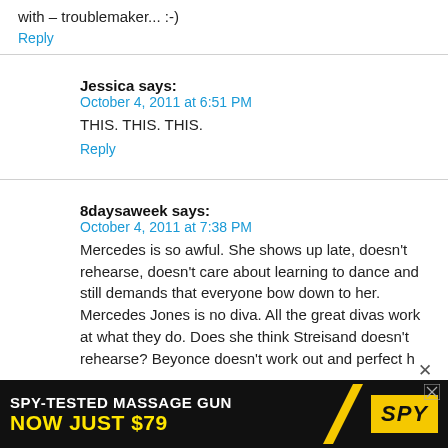with – troublemaker... :-)
Reply
Jessica says:
October 4, 2011 at 6:51 PM
THIS. THIS. THIS.
Reply
8daysaweek says:
October 4, 2011 at 7:38 PM
Mercedes is so awful. She shows up late, doesn't rehearse, doesn't care about learning to dance and still demands that everyone bow down to her. Mercedes Jones is no diva. All the great divas work at what they do. Does she think Streisand doesn't rehearse? Beyonce doesn't work out and perfect h
[Figure (infographic): Advertisement banner: SPY-TESTED MASSAGE GUN NOW JUST $79 with SPY logo]